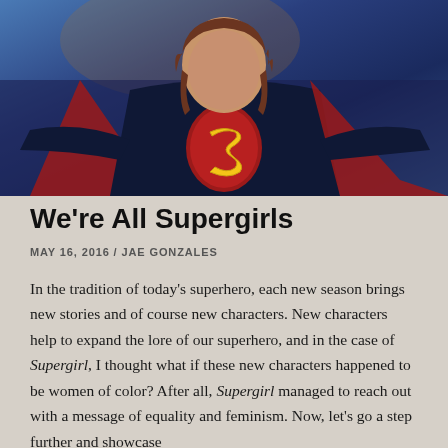[Figure (photo): Woman in Supergirl costume with arms outstretched, wearing dark navy suit with large red S logo shield, red cape, in dramatic action pose against blurred background]
We’re All Supergirls
MAY 16, 2016 / JAE GONZALES
In the tradition of today’s superhero, each new season brings new stories and of course new characters. New characters help to expand the lore of our superhero, and in the case of Supergirl, I thought what if these new characters happened to be women of color? After all, Supergirl managed to reach out with a message of equality and feminism. Now, let’s go a step further and showcase